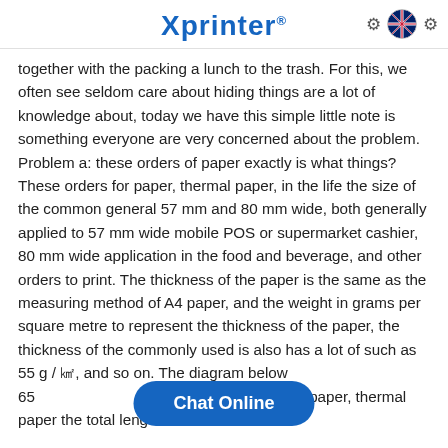Xprinter®
together with the packing a lunch to the trash. For this, we often see seldom care about hiding things are a lot of knowledge about, today we have this simple little note is something everyone are very concerned about the problem. Problem a: these orders of paper exactly is what things? These orders for paper, thermal paper, in the life the size of the common general 57 mm and 80 mm wide, both generally applied to 57 mm wide mobile POS or supermarket cashier, 80 mm wide application in the food and beverage, and other orders to print. The thickness of the paper is the same as the measuring method of A4 paper, and the weight in grams per square metre to represent the thickness of the paper, the thickness of the commonly used is also has a lot of such as 55 g / ㎡, and so on. The diagram below 65 g / ㎡ thermal paper, thermal paper the total length of about 30 meters.